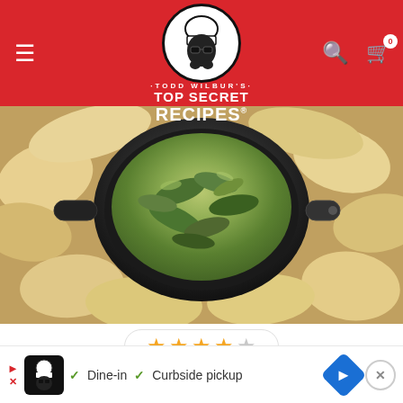Todd Wilbur's Top Secret Recipes
[Figure (photo): Spinach and artichoke dip in a black cast iron skillet surrounded by tortilla chips]
[Figure (other): 4 out of 5 stars rating widget]
HOUSTON'S CHICAGO-STYLE SPINACH DIP
These days just about every casual dining chain has a version of this appetizer: spinach and artichoke hearts mixed
[Figure (other): Advertisement bar: chef logo, Dine-in and Curbside pickup options, blue arrow badge, close button]